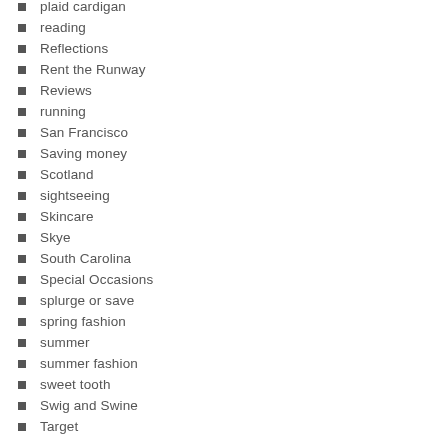plaid cardigan
reading
Reflections
Rent the Runway
Reviews
running
San Francisco
Saving money
Scotland
sightseeing
Skincare
Skye
South Carolina
Special Occasions
splurge or save
spring fashion
summer
summer fashion
sweet tooth
Swig and Swine
Target